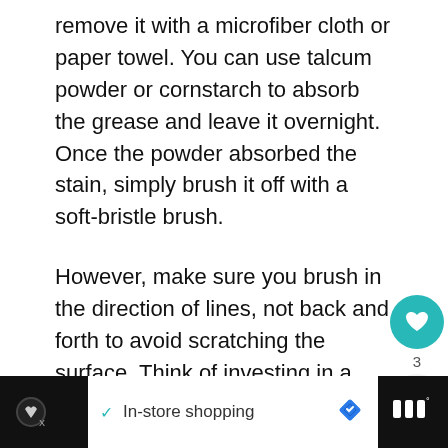remove it with a microfiber cloth or paper towel. You can use talcum powder or cornstarch to absorb the grease and leave it overnight. Once the powder absorbed the stain, simply brush it off with a soft-bristle brush.
However, make sure you brush in the direction of lines, not back and forth to avoid scratching the surface. Think of investing in a waterproof stain guard for easier stain removal in the future.
[Figure (other): Social interaction widget with teal heart button (count: 3) and share button]
[Figure (other): Advertisement bar at bottom: dark left section with play/logo icons, white middle section with checkmark and 'In-store shopping' text and blue diamond icon, dark right section with triple bar and degree symbol]